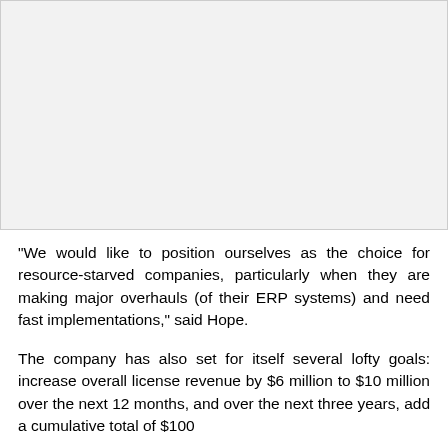[Figure (other): Image placeholder region at top of page]
"We would like to position ourselves as the choice for resource-starved companies, particularly when they are making major overhauls (of their ERP systems) and need fast implementations," said Hope.
The company has also set for itself several lofty goals: increase overall license revenue by $6 million to $10 million over the next 12 months, and over the next three years, add a cumulative total of $100